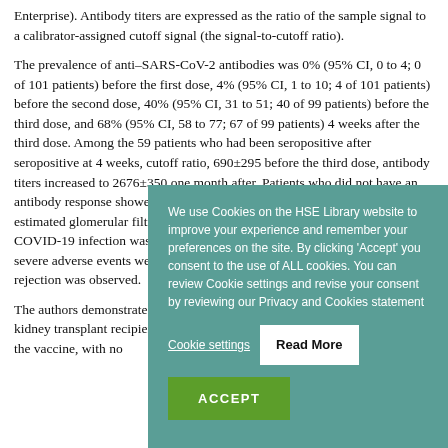Enterprise). Antibody titers are expressed as the ratio of the sample signal to a calibrator-assigned cutoff signal (the signal-to-cutoff ratio).
The prevalence of anti–SARS-CoV-2 antibodies was 0% (95% CI, 0 to 4; 0 of 101 patients) before the first dose, 4% (95% CI, 1 to 10; 4 of 101 patients) before the second dose, 40% (95% CI, 31 to 51; 40 of 99 patients) before the third dose, and 68% (95% CI, 58 to 77; 67 of 99 patients) 4 weeks after the third dose. Among the 59 patients who had been seropositive at 4 weeks... cutoff ratio, 690±29... before the third dose... antibody titers increased... 2676±350 one month... did not have an antibody... degree of immunosuppression... glomerular filtration... response. COVID-19... after they received... events were reported... and no acute rejection.
[Figure (screenshot): Cookie consent overlay on teal/green background with text: 'We use Cookies on the HSE Library website to improve your experience and remember your preferences on the site. By clicking Accept you consent to the use of ALL cookies. You can review Cookie settings and revise your consent by reviewing our Privacy and Cookies statement'. Contains buttons: Cookie settings (underlined text), Read More (white button), and ACCEPT (green button).]
The authors demonstrated that the BNT162b2 vaccine significantly improved the immunogenicity of the vaccine, with no...